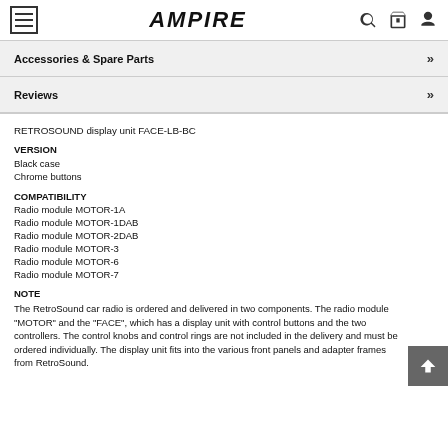AMPIRE
Accessories & Spare Parts >>
Reviews >>
RETROSOUND display unit FACE-LB-BC
VERSION
Black case
Chrome buttons
COMPATIBILITY
Radio module MOTOR-1A
Radio module MOTOR-1DAB
Radio module MOTOR-2DAB
Radio module MOTOR-3
Radio module MOTOR-6
Radio module MOTOR-7
NOTE
The RetroSound car radio is ordered and delivered in two components. The radio module "MOTOR" and the "FACE", which has a display unit with control buttons and the two controllers. The control knobs and control rings are not included in the delivery and must be ordered individually. The display unit fits into the various front panels and adapter frames from RetroSound.